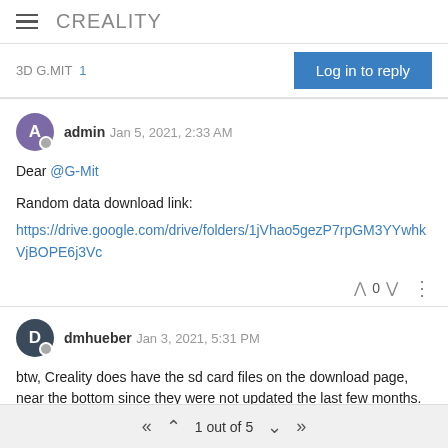CREALITY
3D G.MIT  1
Log in to reply
admin  Jan 5, 2021, 2:33 AM
Dear @G-Mit

Random data download link:
https://drive.google.com/drive/folders/1jVhao5gezP7rpGM3YYwhkVjBOPE6j3Vc
0
dmhueber  Jan 3, 2021, 5:31 PM
btw, Creality does have the sd card files on the download page, near the bottom since they were not updated the last few months. It is just a normal sd card. fix it (format fat32) or get a new one and
1 out of 5